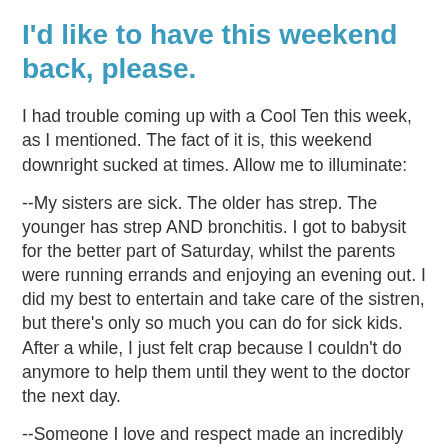I'd like to have this weekend back, please.
I had trouble coming up with a Cool Ten this week, as I mentioned. The fact of it is, this weekend downright sucked at times. Allow me to illuminate:
--My sisters are sick. The older has strep. The younger has strep AND bronchitis. I got to babysit for the better part of Saturday, whilst the parents were running errands and enjoying an evening out. I did my best to entertain and take care of the sistren, but there's only so much you can do for sick kids. After a while, I just felt crap because I couldn't do anymore to help them until they went to the doctor the next day.
--Someone I love and respect made an incredibly racist remark on Saturday. I was shocked. Despite being raised by a man who didn't see Archie Bunker as satire, she still turned out okay. She's been a Christian for the majority of her life, and would consider herself rather devout. Then she comes...